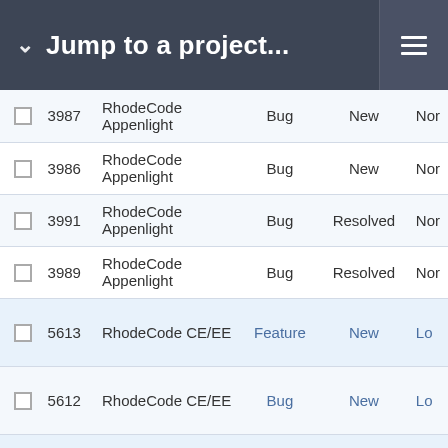Jump to a project...
|  | # | Project | Type | Status | Priority |
| --- | --- | --- | --- | --- | --- |
|  | 3987 | RhodeCode Appenlight | Bug | New | Nor |
|  | 3986 | RhodeCode Appenlight | Bug | New | Nor |
|  | 3991 | RhodeCode Appenlight | Bug | Resolved | Nor |
|  | 3989 | RhodeCode Appenlight | Bug | Resolved | Nor |
|  | 5613 | RhodeCode CE/EE | Feature | New | Lo |
|  | 5612 | RhodeCode CE/EE | Bug | New | Lo |
|  | 5460 | RhodeCode CE/EE | Bug | New | Lo |
|  | 5441 | RhodeCode CE/EE | Feature | New | Lo |
|  | 4289 | RhodeCode CE/EE | Task | New | Lo |
|  | 4154 | RhodeCode CE/EE | Bug | New | Lo |